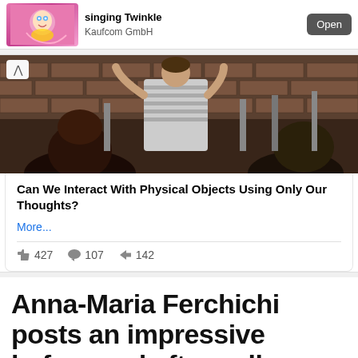[Figure (screenshot): Mobile app advertisement banner for an app featuring a cartoon character singing Twinkle, by Kaufcom GmbH, with an Open button]
[Figure (photo): Photo of people sitting around a table in a restaurant or bar with brick walls, viewed from behind]
Can We Interact With Physical Objects Using Only Our Thoughts?
More...
427  107  142
Anna-Maria Ferchichi posts an impressive before and after collage
Oliver Adey   16 April 2022